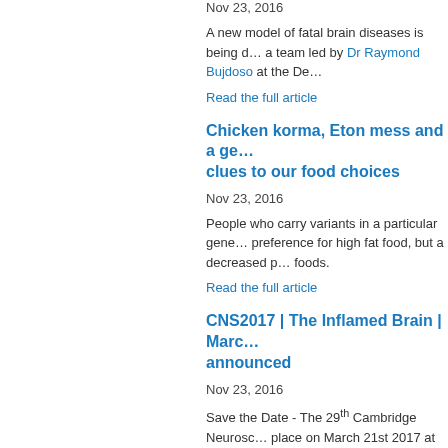Nov 23, 2016
A new model of fatal brain diseases is being d… a team led by Dr Raymond Bujdoso at the De…
Read the full article
Chicken korma, Eton mess and a ge… clues to our food choices
Nov 23, 2016
People who carry variants in a particular gene… preference for high fat food, but a decreased p… foods.
Read the full article
CNS2017 | The Inflamed Brain | Marc… announced
Nov 23, 2016
Save the Date - The 29th Cambridge Neurosc… place on March 21st 2017 at Robinson Colleg… soon!
Read the full article
CNS2017 | The Inflamed Brain | Marc…